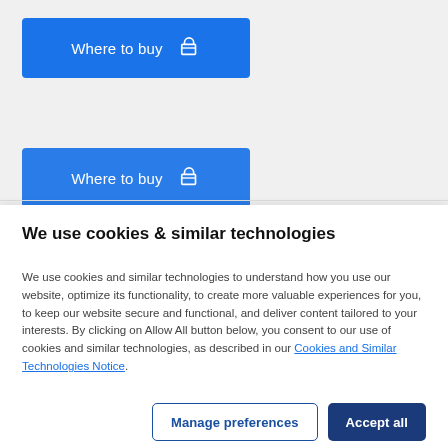[Figure (screenshot): Blue 'Where to buy' button with shopping cart icon, first instance]
[Figure (screenshot): Blue 'Where to buy' button with shopping cart icon, second partially visible instance]
We use cookies & similar technologies
We use cookies and similar technologies to understand how you use our website, optimize its functionality, to create more valuable experiences for you, to keep our website secure and functional, and deliver content tailored to your interests. By clicking on Allow All button below, you consent to our use of cookies and similar technologies, as described in our Cookies and Similar Technologies Notice.
[Figure (screenshot): Manage preferences and Accept all buttons for cookie consent dialog]
[Figure (photo): Nokia wireless earbuds charging case (black) with Nokia branding and LED dots visible on top]